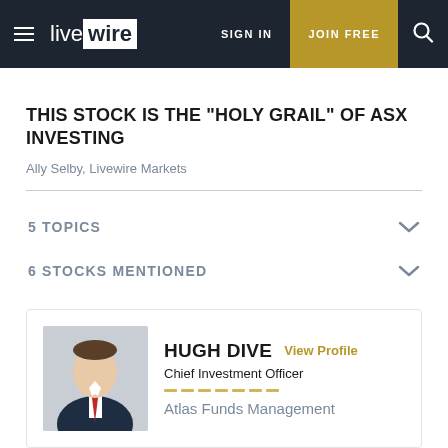live wire | SIGN IN | JOIN FREE
THIS STOCK IS THE "HOLY GRAIL" OF ASX INVESTING
Ally Selby, Livewire Markets
5 TOPICS
6 STOCKS MENTIONED
HUGH DIVE  View Profile
Chief Investment Officer
Atlas Funds Management